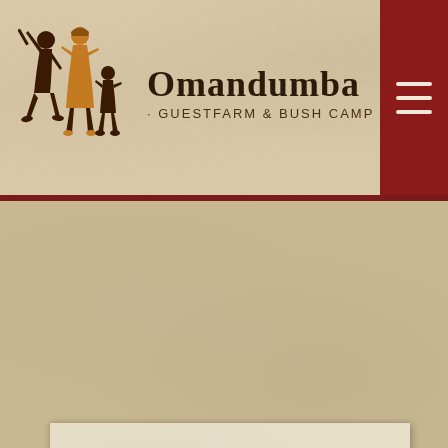[Figure (logo): Omandumba Guestfarm & Bush Camp logo with silhouette figures of African people walking and brand name text]
[Figure (other): Hamburger menu icon (three horizontal lines) on dark red background in top right corner]
[Figure (other): Textured parchment/paper background area below the header — main content area with inner lighter paper panel]